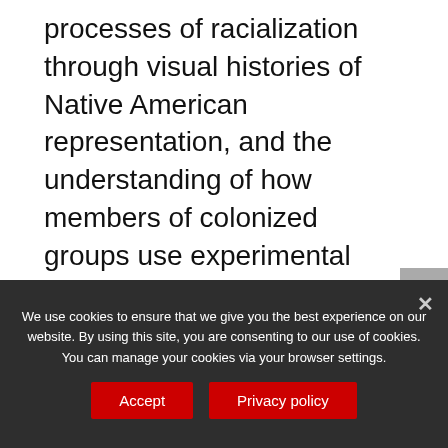processes of racialization through visual histories of Native American representation, and the understanding of how members of colonized groups use experimental video and digital music as an artistic and intellectual medium of re-mix for cultural and political expressions of resistance to such processes.
In our interview we talk about
We use cookies to ensure that we give you the best experience on our website. By using this site, you are consenting to our use of cookies. You can manage your cookies via your browser settings.